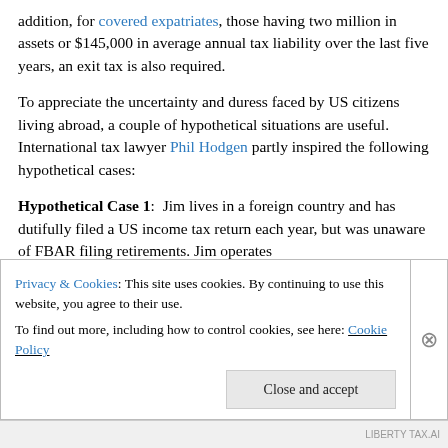addition, for covered expatriates, those having two million in assets or $145,000 in average annual tax liability over the last five years, an exit tax is also required.
To appreciate the uncertainty and duress faced by US citizens living abroad, a couple of hypothetical situations are useful. International tax lawyer Phil Hodgen partly inspired the following hypothetical cases:
Hypothetical Case 1: Jim lives in a foreign country and has dutifully filed a US income tax return each year, but was unaware of FBAR filing retirements. Jim operates
Privacy & Cookies: This site uses cookies. By continuing to use this website, you agree to their use. To find out more, including how to control cookies, see here: Cookie Policy
Close and accept